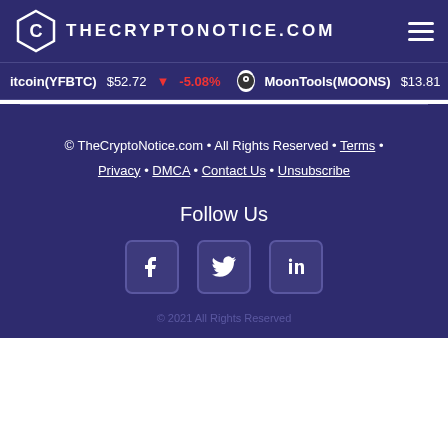THECRYPTONOTICE.COM
itcoin(YFBTC) $52.72 ▼ -5.08%   MoonTools(MOONS) $13.81 ▲ 0.
© TheCryptoNotice.com • All Rights Reserved • Terms • Privacy • DMCA • Contact Us • Unsubscribe
Follow Us
[Figure (illustration): Social media icons: Facebook, Twitter, LinkedIn]
© 2021 All Rights Reserved